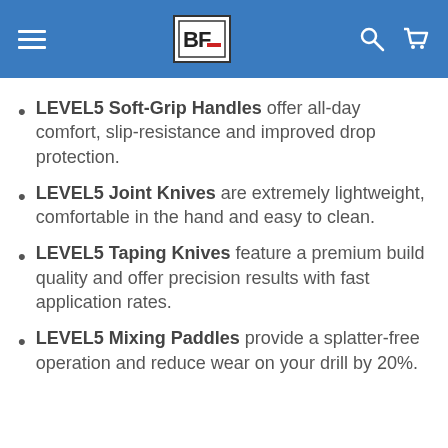BF logo, menu, search, and cart icons
LEVEL5 Soft-Grip Handles offer all-day comfort, slip-resistance and improved drop protection.
LEVEL5 Joint Knives are extremely lightweight, comfortable in the hand and easy to clean.
LEVEL5 Taping Knives feature a premium build quality and offer precision results with fast application rates.
LEVEL5 Mixing Paddles provide a splatter-free operation and reduce wear on your drill by 20%.